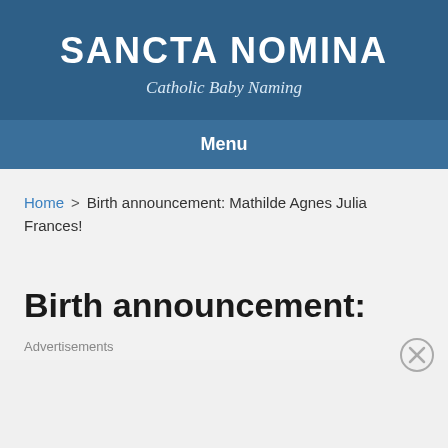SANCTA NOMINA
Catholic Baby Naming
Menu
Home > Birth announcement: Mathilde Agnes Julia Frances!
Birth announcement:
Advertisements